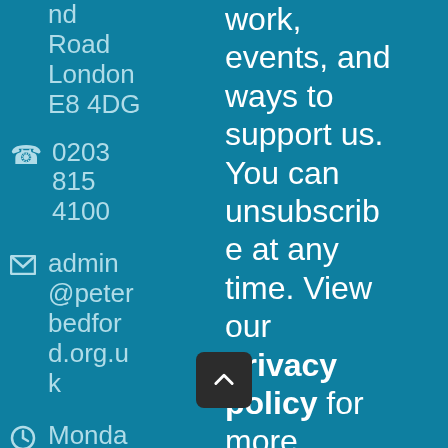nd Road London E8 4DG
0203 815 4100
admin@peterbedford.org.uk
Monda
work, events, and ways to support us. You can unsubscribe at any time. View our privacy policy for more information on how we use